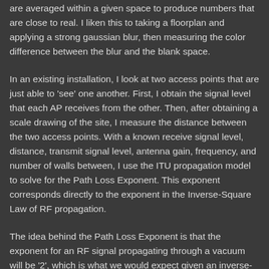are averaged within a given space to produce numbers that are close to real. I liken this to taking a floorplan and applying a strong gaussian blur, then measuring the color difference between the blur and the blank space.
In an existing installation, I look at two access points that are just able to 'see' one another. First, I obtain the signal level that each AP receives from the other. Then, after obtaining a scale drawing of the site, I measure the distance between the two access points. With a known receive signal level, distance, transmit signal level, antenna gain, frequency, and number of walls between, I use the ITU propagation model to solve for the Path Loss Exponent. This exponent corresponds directly to the exponent in the Inverse-Square Law of RF propagation.
The idea behind the Path Loss Exponent is that the exponent for an RF signal propagating through a vacuum will be '2', which is what we would expect given an inverse-square. However, in a medium, the exponent increases, thus causing the efficiency with which the signal travels to decrease sharply. Of course, the Path Loss Exponent